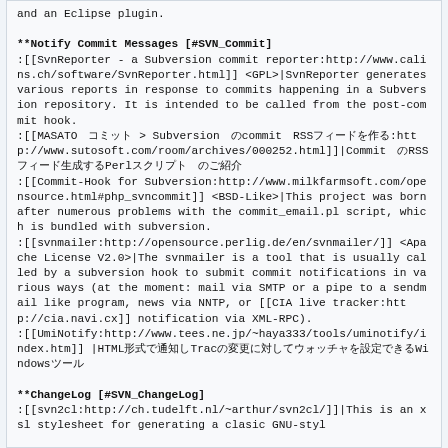and an Eclipse plugin.
**Notify Commit Messages [#SVN_Commit]
:[[SvnReporter - a Subversion commit reporter:http://www.calins.ch/software/SvnReporter.html]] <GPL>|SvnReporter generates various reports in response to commits happening in a Subversion repository. It is intended to be called from the post-commit hook.
:[[MASATO　コミット > Subversion　のcommit　RSSフィードを作る:http://www.sutosoft.com/room/archives/000252.html]]|Commit　のRSS　フィード生成するPerlスクリプト　のご紹介
:[[Commit-Hook for Subversion:http://www.milkfarmsoft.com/opensource.html#php_svncommit]] <BSD-Like>|This project was born after numerous problems with the commit_email.pl script, which is bundled with subversion.
:[[svnmailer:http://opensource.perlig.de/en/svnmailer/]] <Apache License V2.0>|The svnmailer is a tool that is usually called by a subversion hook to submit commit notifications in various ways (at the moment: mail via SMTP or a pipe to a sendmail like program, news via NNTP, or [[CIA live tracker:http://cia.navi.cx]] notification via XML-RPC).
:[[UmiNotify:http://www.tees.ne.jp/~haya333/tools/uminotify/index.htm]] |HTML形式で通知しTracの変更に対してウォッチャを設定できるWindowsツール
**ChangeLog [#SVN_ChangeLog]
:[[svn2cl:http://ch.tudelft.nl/~arthur/svn2cl/]]|This is an xsl stylesheet for generating a clasic GNU-styl